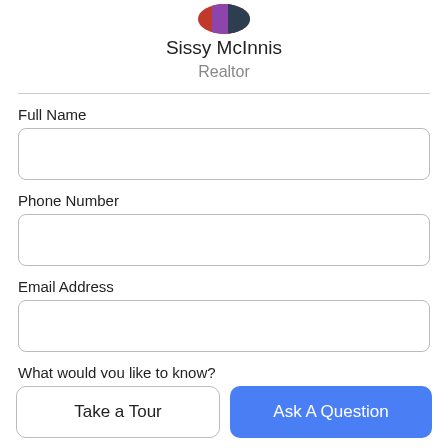[Figure (photo): Partial avatar photo of Sissy McInnis at top center]
Sissy McInnis
Realtor
Full Name
Phone Number
Email Address
What would you like to know?
Take a Tour
Ask A Question